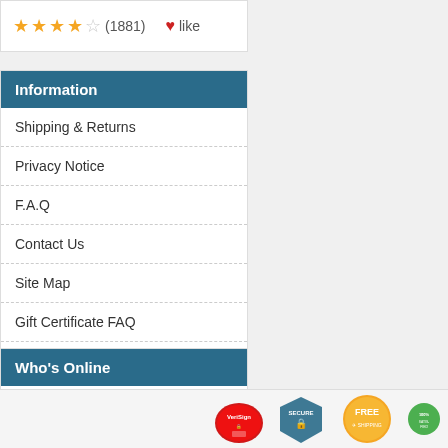★★★★☆ (1881) ♥ like
Information
Shipping & Returns
Privacy Notice
F.A.Q
Contact Us
Site Map
Gift Certificate FAQ
Discount Coupons
Newsletter Unsubscribe
Who's Online
There currently are 5 guests online.
[Figure (logo): Footer trust badges: VeriSign, Secure, FREE shipping, Satisfaction guarantee]